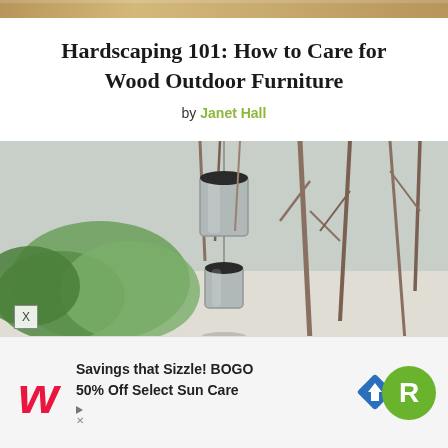Hardscaping 101: How to Care for Wood Outdoor Furniture
by Janet Hall
[Figure (photo): Photo of metallic wind chimes hanging between bare tree branches with green foliage in the background, outdoor scene with light-colored ground]
[Figure (infographic): Advertisement banner: Walgreens logo with italic W, text 'Savings that Sizzle! BOGO 50% Off Select Sun Care', blue arrow road sign icon, and green circle R badge]